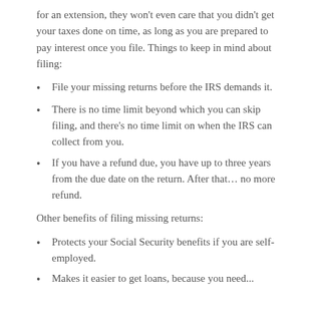for an extension, they won't even care that you didn't get your taxes done on time, as long as you are prepared to pay interest once you file. Things to keep in mind about filing:
File your missing returns before the IRS demands it.
There is no time limit beyond which you can skip filing, and there's no time limit on when the IRS can collect from you.
If you have a refund due, you have up to three years from the due date on the return. After that… no more refund.
Other benefits of filing missing returns:
Protects your Social Security benefits if you are self-employed.
Makes it easier to get loans, because you need...